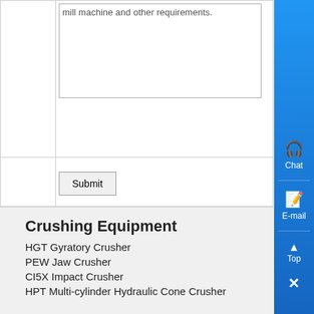mill machine and other requirements.
Submit
Crushing Equipment
HGT Gyratory Crusher
PEW Jaw Crusher
CI5X Impact Crusher
HPT Multi-cylinder Hydraulic Cone Crusher